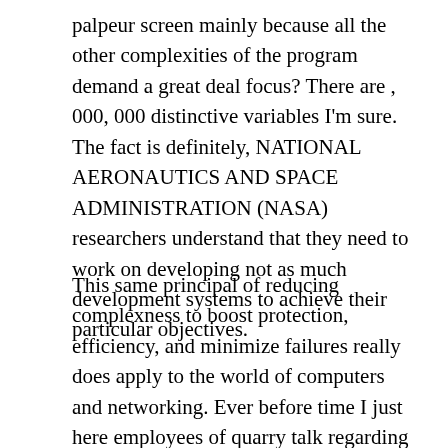palpeur screen mainly because all the other complexities of the program demand a great deal focus? There are , 000, 000 distinctive variables I'm sure. The fact is definitely, NATIONAL AERONAUTICS AND SPACE ADMINISTRATION (NASA) researchers understand that they need to work on developing not as much development systems to achieve their particular objectives.
This same principal of reducing complexness to boost protection, efficiency, and minimize failures really does apply to the world of computers and networking. Ever before time I just here employees of quarry talk regarding extremely organic systems they will style